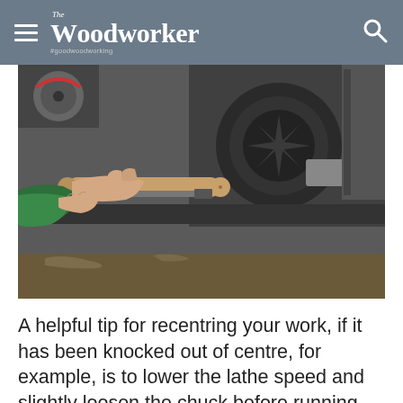The Woodworker #goodwoodworking
[Figure (photo): Close-up photo of hands using a lathe, with a wooden dowel being turned. The person is wearing a green long-sleeve shirt. A metal tool rest and lathe chuck/motor are visible in the background.]
A helpful tip for recentring your work, if it has been knocked out of centre, for example, is to lower the lathe speed and slightly loosen the chuck before running the lathe and inserting a stout tool between workpiece and toolrest. As the work rotates, the tool